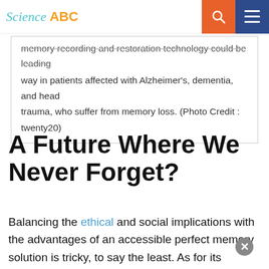Science ABC
memory recording and restoration technology could be leading way in patients affected with Alzheimer's, dementia, and head trauma, who suffer from memory loss. (Photo Credit : twenty20)
A Future Where We Never Forget?
Balancing the ethical and social implications with the advantages of an accessible perfect memory solution is tricky, to say the least. As for its feasibility, it's unlikely that sci-fi-esque memory recording capabilities will become